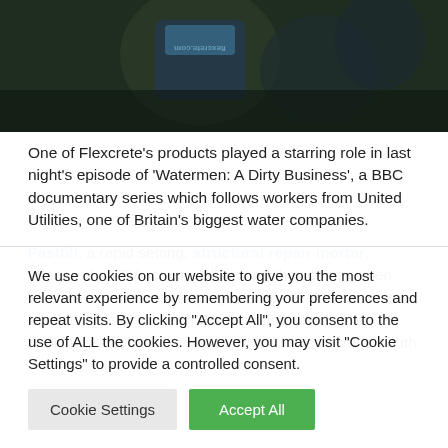[Figure (photo): Dark image showing workers/people with equipment, partial view of a flexcrete.com branded jacket visible at top]
One of Flexcrete’s products played a starring role in last night’s episode of ‘Watermen: A Dirty Business’, a BBC documentary series which follows workers from United Utilities, one of Britain’s biggest water companies.
Fastfill, a rapid setting, structural repair mortar, appeared on TV screens all around the country when workers were filmed carrying out repairs to the concrete lined tunnels at Haweswater Aqueduct which supplies drinking water to around two million homes across South Cumbria, Central Lancashire and Greater
We use cookies on our website to give you the most relevant experience by remembering your preferences and repeat visits. By clicking “Accept All”, you consent to the use of ALL the cookies. However, you may visit "Cookie Settings" to provide a controlled consent.